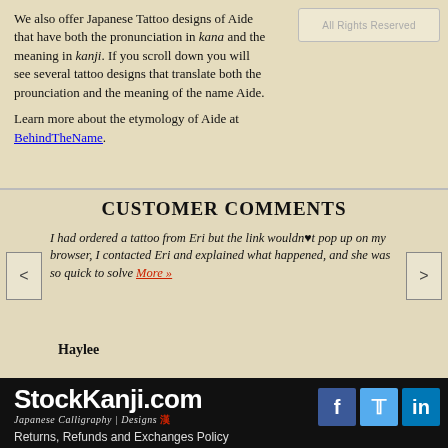[Figure (logo): All Rights Reserved watermark badge with decorative icon]
We also offer Japanese Tattoo designs of Aide that have both the pronunciation in kana and the meaning in kanji. If you scroll down you will see several tattoo designs that translate both the prounciation and the meaning of the name Aide.

Learn more about the etymology of Aide at BehindTheName.
CUSTOMER COMMENTS
I had ordered a tattoo from Eri but the link wouldn't pop up on my browser, I contacted Eri and explained what happened, and she was so quick to solve More »
Haylee
[Figure (logo): StockKanji.com logo with Japanese Calligraphy Designs tagline and social media icons for Facebook, Twitter, LinkedIn]
Returns, Refunds and Exchanges Policy
About Us